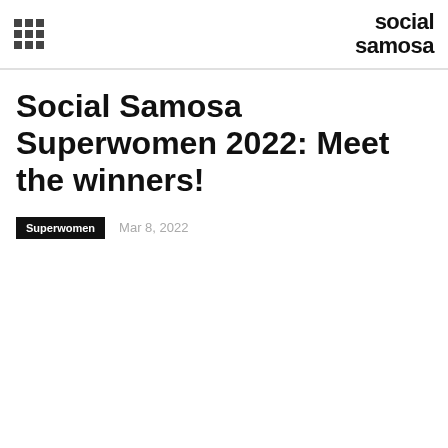social samosa
Social Samosa Superwomen 2022: Meet the winners!
Superwomen  Mar 8, 2022